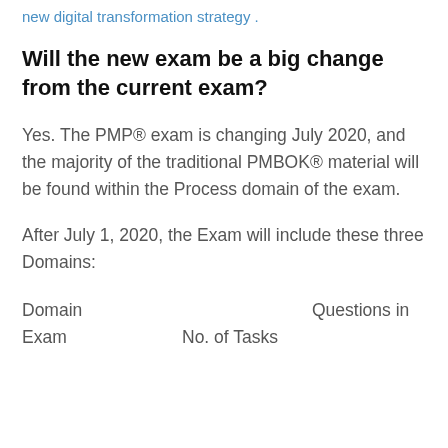new digital transformation strategy .
Will the new exam be a big change from the current exam?
Yes. The PMP® exam is changing July 2020, and the majority of the traditional PMBOK® material will be found within the Process domain of the exam.
After July 1, 2020, the Exam will include these three Domains:
| Domain | No. of Tasks | Questions in Exam |
| --- | --- | --- |